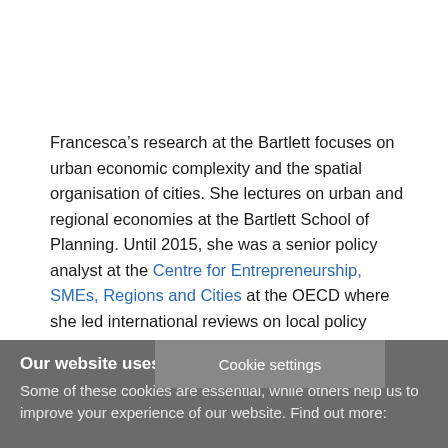Francesca's research at the Bartlett focuses on urban economic complexity and the spatial organisation of cities. She lectures on urban and regional economies at the Bartlett School of Planning. Until 2015, she was a senior policy analyst at the Centre for Entrepreneurship, SMEs, Regions and Cities at the OECD where she led international reviews on local policy implementation and governance. She has extensive experience … and promoting public
Cookie settings
Our website uses cookies
Some of these cookies are essential, while others help us to improve your experience of our website. Find out more: